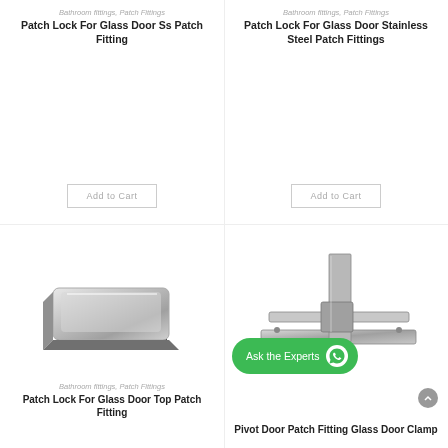Bathroom fittings, Patch Fittings
Patch Lock For Glass Door Ss Patch Fitting
Add to Cart
Bathroom fittings, Patch Fittings
Patch Lock For Glass Door Stainless Steel Patch Fittings
Add to Cart
[Figure (photo): Stainless steel patch lock for glass door, square shape with chrome finish]
[Figure (photo): Pivot door patch fitting glass door clamp, chrome finish hardware]
Bathroom fittings, Patch Fittings
Patch Lock For Glass Door Top Patch Fitting
Pivot Door Patch Fitting Glass Door Clamp